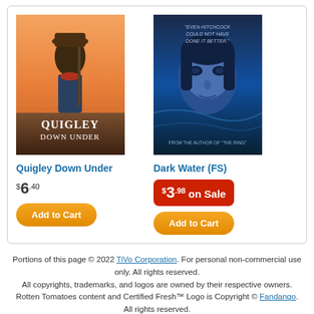[Figure (photo): Movie cover for Quigley Down Under showing a man with a rifle in an outdoor western setting with orange/pink sky]
Quigley Down Under
$6.40
Add to Cart
[Figure (photo): Movie cover for Dark Water (FS) showing a woman's face in blue tones with text overlay]
Dark Water (FS)
$3.98 on Sale
Add to Cart
Portions of this page © 2022 TiVo Corporation. For personal non-commercial use only. All rights reserved. All copyrights, trademarks, and logos are owned by their respective owners. Rotten Tomatoes content and Certified Fresh™ Logo is Copyright © Fandango. All rights reserved. © 2022 OLDIES.com and its affiliates and partner companies. All rights reserved.